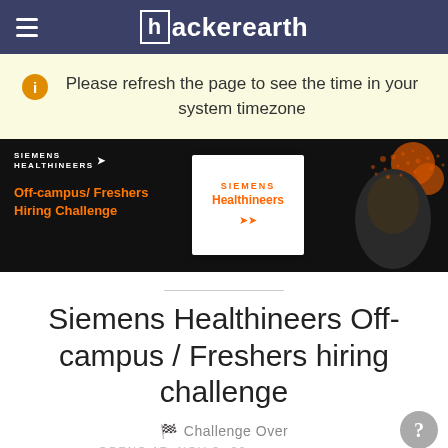hackerearth
Please refresh the page to see the time in your system timezone
[Figure (illustration): Siemens Healthineers Off-campus / Freshers Hiring Challenge banner with dark background, company logo, and a digital portrait of a person]
Siemens Healthineers Off-campus / Freshers hiring challenge
Challenge Over